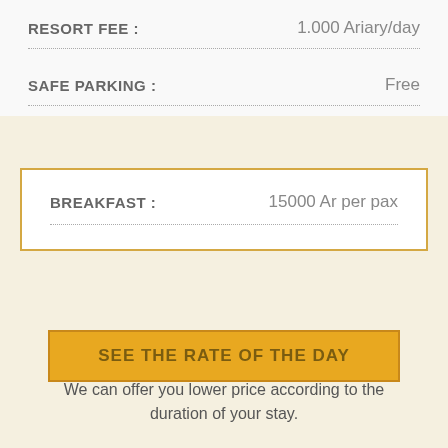RESORT FEE : 1.000 Ariary/day
SAFE PARKING : Free
BREAKFAST : 15000 Ar per pax
SEE THE RATE OF THE DAY
We can offer you lower price according to the duration of your stay.